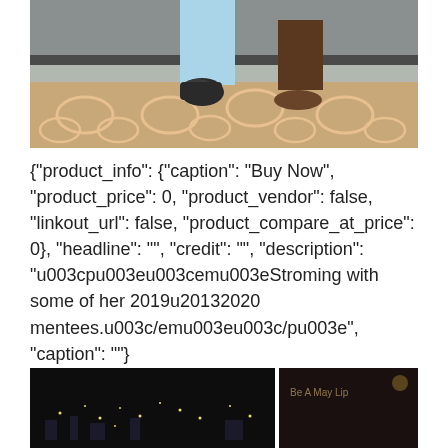[Figure (photo): Photo showing legs of two people standing on a patterned carpet/rug. One person wearing light blue leggings and dark sneakers, another person barefoot.]
{"product_info": {"caption": "Buy Now", "product_price": 0, "product_vendor": false, "linkout_url": false, "product_compare_at_price": 0}, "headline": "", "credit": "", "description": "u003cpu003eu003cemu003eStroming with some of her 2019u20132020 mentees.u003c/emu003eu003c/pu003e", "caption": ""}
[Figure (photo): Dark nighttime photo split into two panels — left panel shows a city skyline at night, right panel shows a dimly lit indoor scene with partial text visible.]